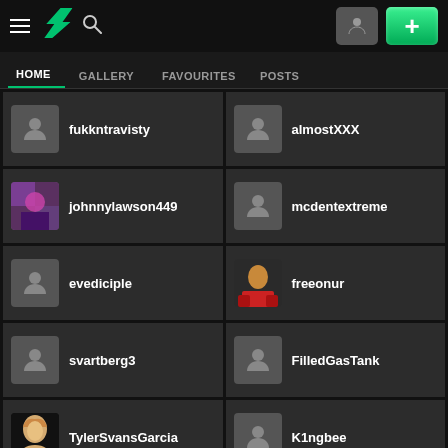[Figure (screenshot): DeviantArt mobile app interface showing navigation header with hamburger menu, DA logo, search icon, profile button, and green plus button]
HOME | GALLERY | FAVOURITES | POSTS
fukkntravisty
almostXXX
johnnylawson449
mcdentextreme
evediciple
freeonur
svartberg3
FilledGasTank
TylerSvansGarcia
K1ngbee